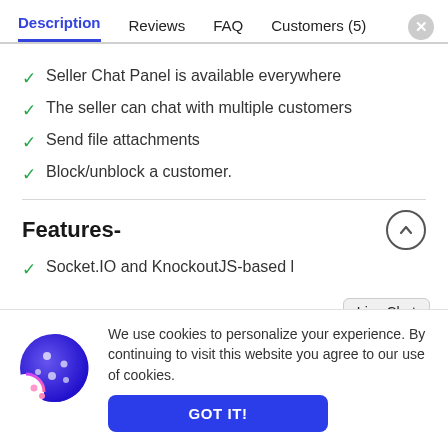Description | Reviews | FAQ | Customers (5)
Seller Chat Panel is available everywhere
The seller can chat with multiple customers
Send file attachments
Block/unblock a customer.
Features-
Socket.IO and KnockoutJS-based l...
We use cookies to personalize your experience. By continuing to visit this website you agree to our use of cookies.